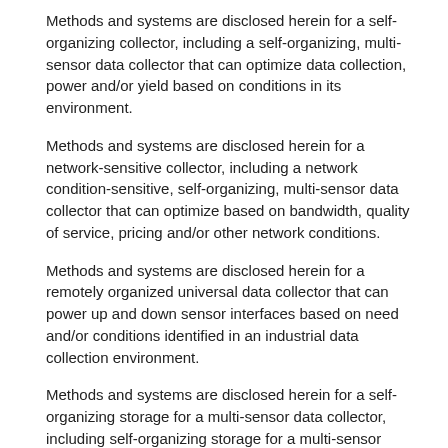Methods and systems are disclosed herein for a self-organizing collector, including a self-organizing, multi-sensor data collector that can optimize data collection, power and/or yield based on conditions in its environment.
Methods and systems are disclosed herein for a network-sensitive collector, including a network condition-sensitive, self-organizing, multi-sensor data collector that can optimize based on bandwidth, quality of service, pricing and/or other network conditions.
Methods and systems are disclosed herein for a remotely organized universal data collector that can power up and down sensor interfaces based on need and/or conditions identified in an industrial data collection environment.
Methods and systems are disclosed herein for a self-organizing storage for a multi-sensor data collector, including self-organizing storage for a multi-sensor data collector for industrial sensor data. Methods and systems are disclosed herein for a self-organizing network coding for a multi-sensor data network, including self-organizing network coding for a data network that transports data